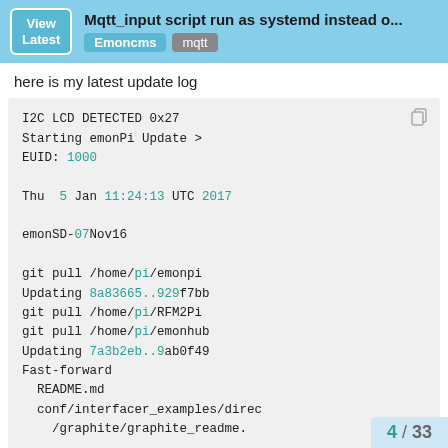View Latest | Mqtt_input script run as systemd instead o... | Emoncms | mqtt
here is my latest update log
I2C LCD DETECTED 0x27
Starting emonPi Update >
EUID: 1000

Thu  5 Jan 11:24:13 UTC 2017

emonSD-07Nov16

git pull /home/pi/emonpi
Updating 8a83665..929f7bb
git pull /home/pi/RFM2Pi
git pull /home/pi/emonhub
Updating 7a3b2eb..9ab0f49
Fast-forward
  README.md
  conf/interfacer_examples/direc
    /graphite/graphite_readme.
4 / 33